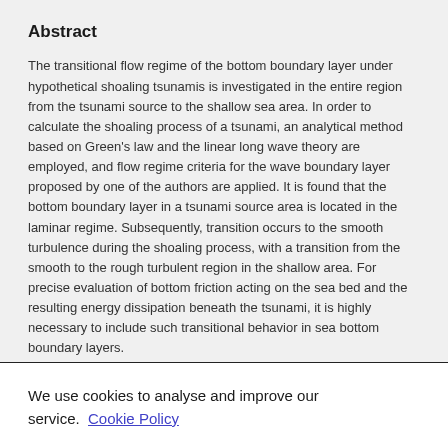Abstract
The transitional flow regime of the bottom boundary layer under hypothetical shoaling tsunamis is investigated in the entire region from the tsunami source to the shallow sea area. In order to calculate the shoaling process of a tsunami, an analytical method based on Green's law and the linear long wave theory are employed, and flow regime criteria for the wave boundary layer proposed by one of the authors are applied. It is found that the bottom boundary layer in a tsunami source area is located in the laminar regime. Subsequently, transition occurs to the smooth turbulence during the shoaling process, with a transition from the smooth to the rough turbulent region in the shallow area. For precise evaluation of bottom friction acting on the sea bed and the resulting energy dissipation beneath the tsunami, it is highly necessary to include such transitional behavior in sea bottom boundary layers.
We use cookies to analyse and improve our service. Cookie Policy